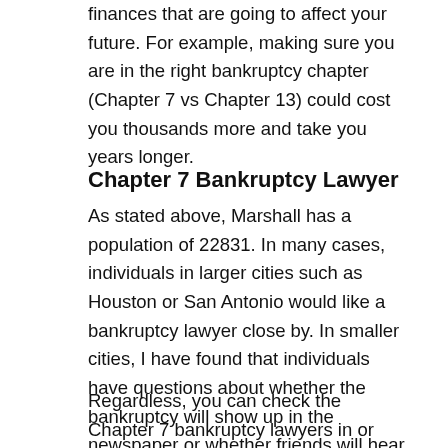finances that are going to affect your future. For example, making sure you are in the right bankruptcy chapter (Chapter 7 vs Chapter 13) could cost you thousands more and take you years longer.
Chapter 7 Bankruptcy Lawyer
As stated above, Marshall has a population of 22831. In many cases, individuals in larger cities such as Houston or San Antonio would like a bankruptcy lawyer close by. In smaller cities, I have found that individuals have questions about whether the bankruptcy will show up in the newspaper or whether friends will hear about it. This is a valid question.
Regardless, you can check the Chapter 7 bankruptcy lawyers in or near Marshall using the table below. You just need to input your zip and